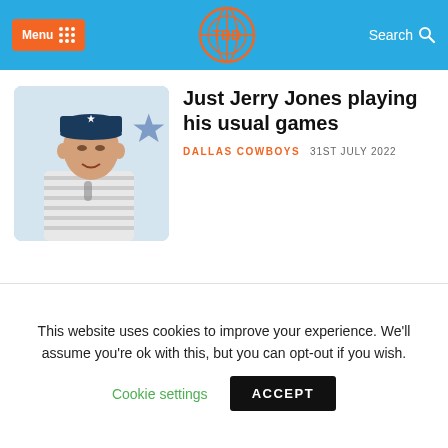Menu | [logo] | Search
Just Jerry Jones playing his usual games
DALLAS COWBOYS   31ST JULY 2022
[Figure (photo): Photo of Jerry Jones at a press conference, wearing a Dallas Cowboys hat and striped shirt, with a star logo visible in the background]
This website uses cookies to improve your experience. We'll assume you're ok with this, but you can opt-out if you wish.
Cookie settings   ACCEPT